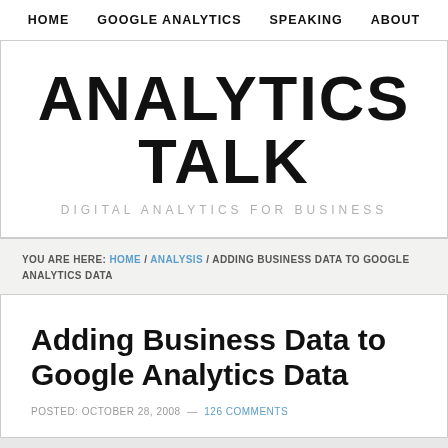HOME   GOOGLE ANALYTICS   SPEAKING   ABOUT
ANALYTICS TALK
DIGITAL ANALYTICS FOR BUSINESS
YOU ARE HERE: HOME / ANALYSIS / ADDING BUSINESS DATA TO GOOGLE ANALYTICS DATA
Adding Business Data to Google Analytics Data
POSTED: OCTOBER 28, 2008 — 126 COMMENTS